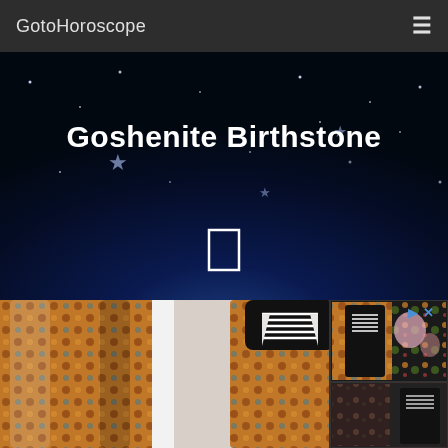GotoHoroscope
Goshenite Birthstone
[Figure (photo): Hero banner with dark blue starry night sky background and glowing horizon, featuring the title 'Goshenite Birthstone' and a small white rectangle icon.]
[Figure (photo): Advertisement banner showing patterned yoga/athletic wear — leggings and a racerback tank top with ornate swirling brown, orange, teal pattern. Right side shows thumbnail images of similar patterned clothing sets.]